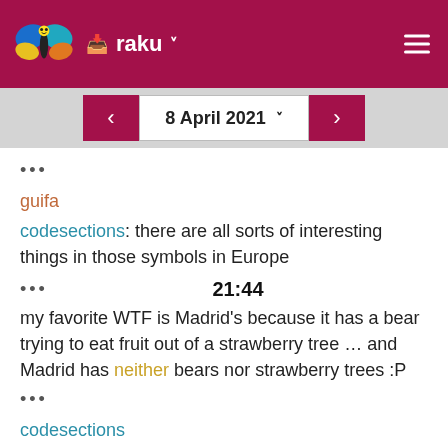raku — inbox
8 April 2021
•••
guifa
codesections: there are all sorts of interesting things in those symbols in Europe
••• 21:44
my favorite WTF is Madrid's because it has a bear trying to eat fruit out of a strawberry tree … and Madrid has neither bears nor strawberry trees :P
•••
codesections